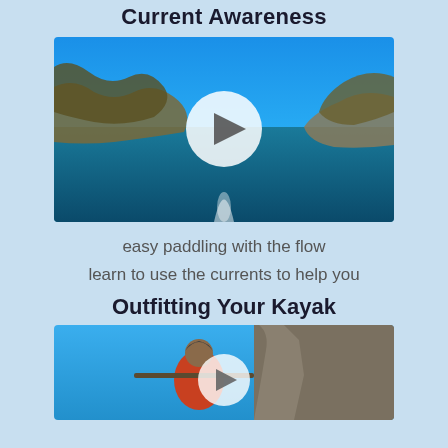Current Awareness
[Figure (photo): Aerial view of a kayaker paddling on open water near rocky shoreline with blue sky, with a white play button overlay indicating a video thumbnail]
easy paddling with the flow
learn to use the currents to help you
Outfitting Your Kayak
[Figure (photo): Person in red life jacket paddling a kayak close to a rocky cliff face, with a white play button overlay indicating a video thumbnail]